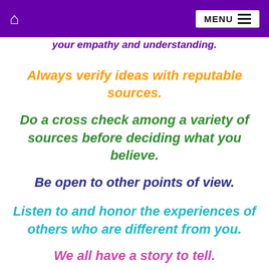🏠 MENU ☰
your empathy and understanding.
Always verify ideas with reputable sources.
Do a cross check among a variety of sources before deciding what you believe.
Be open to other points of view.
Listen to and honor the experiences of others who are different from you.
We all have a story to tell.